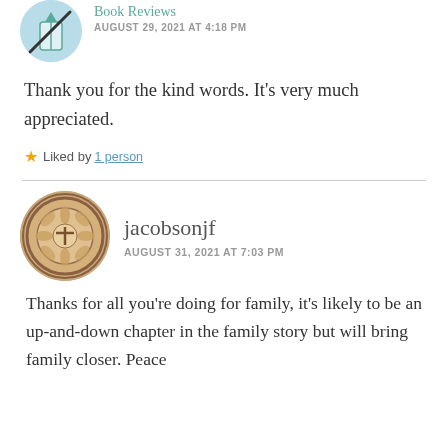[Figure (photo): Partial avatar image at top left, circular crop of a blue and white icon with a pencil/pen graphic]
Book Reviews
AUGUST 29, 2021 AT 4:18 PM
Thank you for the kind words. It's very much appreciated.
Liked by 1 person
[Figure (photo): Circular avatar image showing a round ceramic or coin-like medallion with a floral cross pattern, brown and beige tones]
jacobsonjf
AUGUST 31, 2021 AT 7:03 PM
Thanks for all you're doing for family, it's likely to be an up-and-down chapter in the family story but will bring family closer. Peace